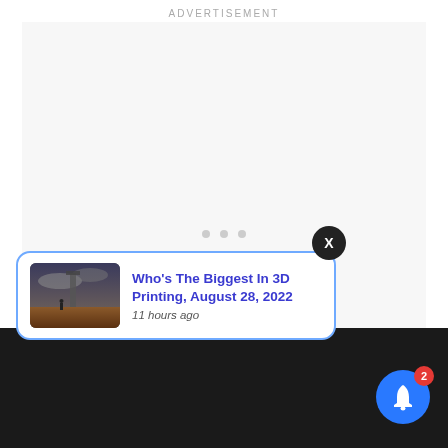ADVERTISEMENT
[Figure (screenshot): Advertisement placeholder area with light gray background and three small gray dots centered]
[Figure (screenshot): Close button: circular black button with white X]
[Figure (screenshot): Notification card with thumbnail image (person standing in barren landscape under dramatic cloudy sky with large structure), title 'Who's The Biggest In 3D Printing, August 28, 2022', timestamp '11 hours ago', blue border]
[Figure (screenshot): Blue circular notification bell button with red badge showing '2']
[Figure (photo): Dark background strip at bottom of page showing a dark nighttime scene]